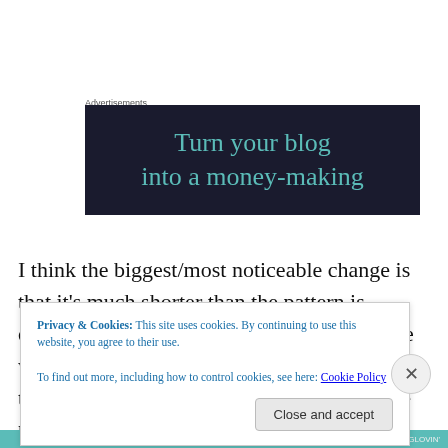Advertisements
[Figure (screenshot): Dark navy advertisement banner with teal text reading 'Turn your blog into a money-making']
I think the biggest/most noticeable change is that it’s much shorter than the pattern is designed to be. I always felt like the lace one was a liiiittle too long on me – and not always the most flattering. The shorter length on the polka dot one
Privacy & Cookies: This site uses cookies. By continuing to use this website, you agree to their use.
To find out more, including how to control cookies, see here: Cookie Policy
Close and accept